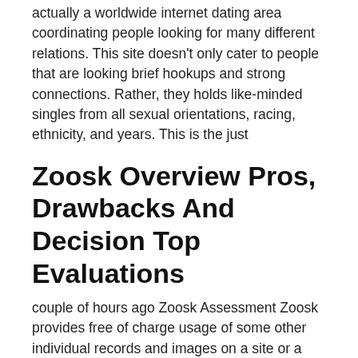actually a worldwide internet dating area coordinating people looking for many different relations. This site doesn't only cater to people that are looking brief hookups and strong connections. Rather, they holds like-minded singles from all sexual orientations, racing, ethnicity, and years. This is the just
Zoosk Overview Pros, Drawbacks And Decision Top Evaluations
couple of hours ago Zoosk Assessment Zoosk provides free of charge usage of some other individual records and images on a site or a free of charge smartphone application. In accordance with https://datingmentor.org/sugar-daddy-for-me-review/ the web site, Zoosk uses a cutting-edge matchmaking algorithm to provide the best fits for the 35 million